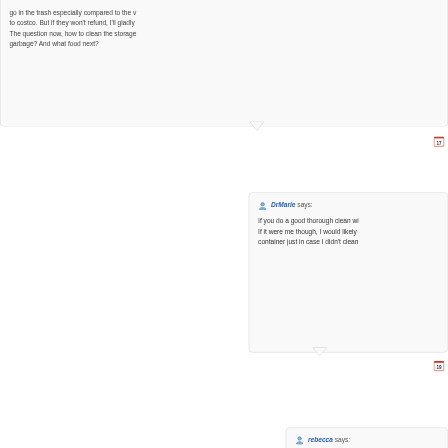go in the trash especially compared to the value to costco. But if they won't refund, I'll gladly The question now, how to clean the storage garbage? And what food next?
DrMarie says: If you do a good thorough clean wi If it were me though, I would likely container just in case I didn't clean
rebecca says: